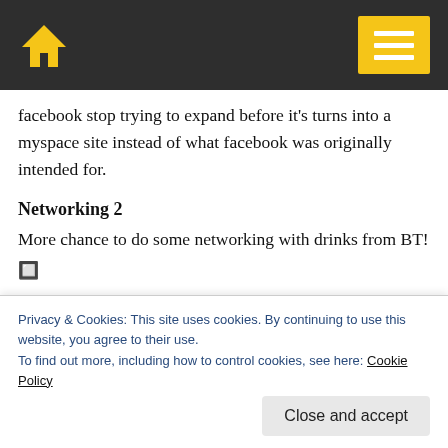Home / Menu
facebook stop trying to expand before it's turns into a myspace site instead of what facebook was originally intended for.
Networking 2
More chance to do some networking with drinks from BT!
🔲
After-party @ The Livery
Yet another time to do some more networking – with drinks sponsored by Trusted Places – when me and Kevin
Privacy & Cookies: This site uses cookies. By continuing to use this website, you agree to their use.
To find out more, including how to control cookies, see here: Cookie Policy
Close and accept